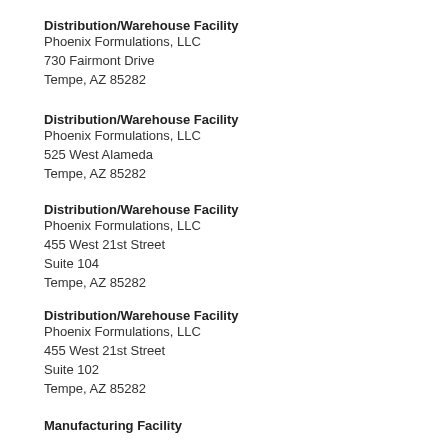Distribution/Warehouse Facility
Phoenix Formulations, LLC
730 Fairmont Drive
Tempe, AZ 85282
Distribution/Warehouse Facility
Phoenix Formulations, LLC
525 West Alameda
Tempe, AZ 85282
Distribution/Warehouse Facility
Phoenix Formulations, LLC
455 West 21st Street
Suite 104
Tempe, AZ 85282
Distribution/Warehouse Facility
Phoenix Formulations, LLC
455 West 21st Street
Suite 102
Tempe, AZ 85282
Manufacturing Facility
Phoenix Formulations, LLC
455 West 21st Street
Tempe, AZ 85282